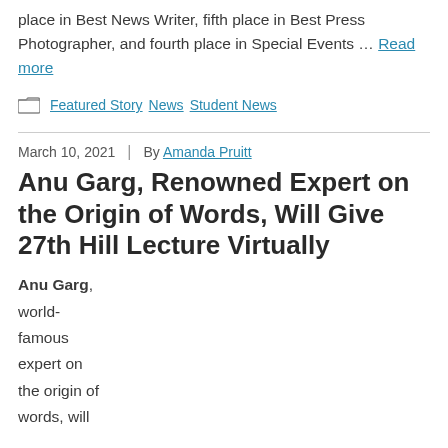place in Best News Writer, fifth place in Best Press Photographer, and fourth place in Special Events … Read more
Featured Story · News · Student News
March 10, 2021 | By Amanda Pruitt
Anu Garg, Renowned Expert on the Origin of Words, Will Give 27th Hill Lecture Virtually
Anu Garg, world-famous expert on the origin of words, will